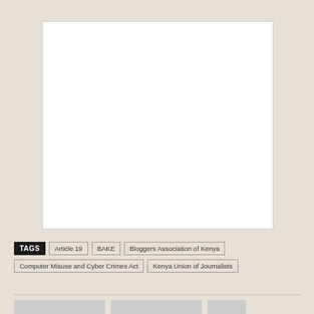[Figure (photo): White blank image placeholder area]
TAGS  Article 19  BAKE  Bloggers Association of Kenya  Computer Misuse and Cyber Crimes Act  Kenya Union of Journalists